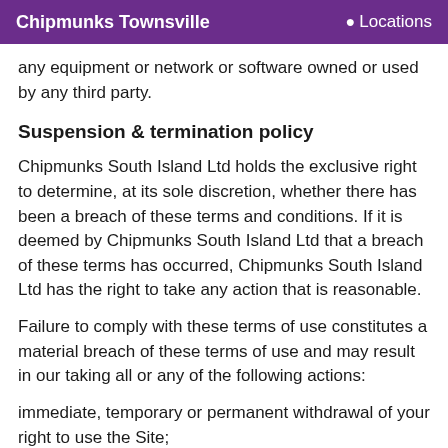Chipmunks Townsville  Locations
any equipment or network or software owned or used by any third party.
Suspension & termination policy
Chipmunks South Island Ltd holds the exclusive right to determine, at its sole discretion, whether there has been a breach of these terms and conditions. If it is deemed by Chipmunks South Island Ltd that a breach of these terms has occurred, Chipmunks South Island Ltd has the right to take any action that is reasonable.
Failure to comply with these terms of use constitutes a material breach of these terms of use and may result in our taking all or any of the following actions:
immediate, temporary or permanent withdrawal of your right to use the Site;
immediate, temporary or permanent removal of any